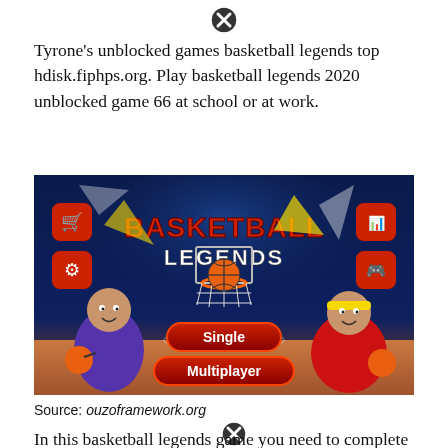[Figure (other): Close/cancel button (X icon) at top center]
Tyrone's unblocked games basketball legends top hdisk.fiphps.org. Play basketball legends 2020 unblocked game 66 at school or at work.
[Figure (screenshot): Screenshot of Basketball Legends game showing title screen with two cartoon players, basketball hoop, Single and Multiplayer buttons, and menu icons]
Source: ouzoframework.org
[Figure (other): Close/cancel button (X icon) near bottom text]
In this basketball legends game you need to complete all